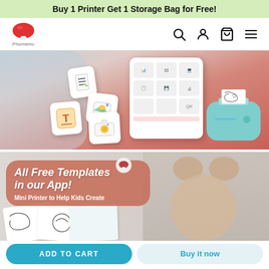Buy 1 Printer Get 1 Storage Bag for Free!
[Figure (logo): Phomemo brand logo: red mushroom icon with text Phomemo below]
[Figure (infographic): Navigation icons: search, user account, cart, hamburger menu]
[Figure (photo): Hero banner showing a teal mini Phomemo printer with app UI and floating template icons on a salmon/coral background]
[Figure (photo): Promotional banner showing a child with text All Free Templates in our App! Mini Printer to Help Kids Create, with printed paper samples]
All Free Templates in our App!
Mini Printer to Help Kids Create
ADD TO CART
Buy it now